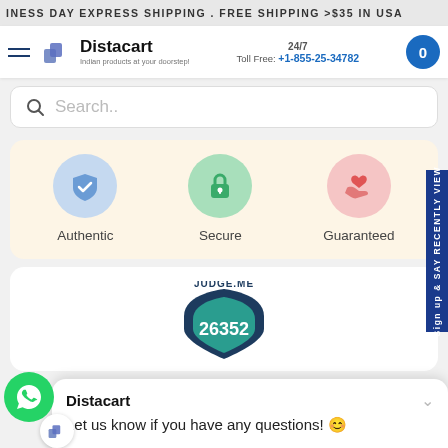BUSINESS DAY EXPRESS SHIPPING . FREE SHIPPING >$35 IN USA
[Figure (logo): Distacart logo with text 'Indian products at your doorstep!']
24/7 Toll Free: +1-855-25-34782
Search..
[Figure (infographic): Three trust badges on cream background: Authentic (blue shield checkmark), Secure (green padlock), Guaranteed (pink hands with heart)]
[Figure (infographic): Judge.me badge showing 26352 reviews]
Distacart
Let us know if you have any questions! 😊